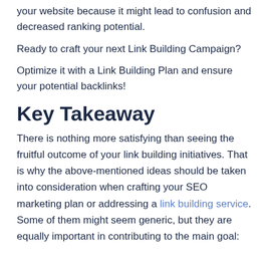your website because it might lead to confusion and decreased ranking potential.
Ready to craft your next Link Building Campaign?
Optimize it with a Link Building Plan and ensure your potential backlinks!
Key Takeaway
There is nothing more satisfying than seeing the fruitful outcome of your link building initiatives. That is why the above-mentioned ideas should be taken into consideration when crafting your SEO marketing plan or addressing a link building service. Some of them might seem generic, but they are equally important in contributing to the main goal: